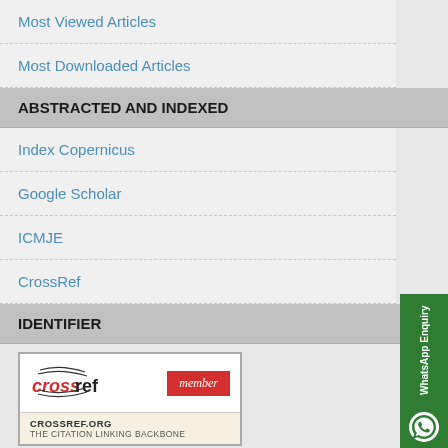Most Viewed Articles
Most Downloaded Articles
ABSTRACTED AND INDEXED
Index Copernicus
Google Scholar
ICMJE
CrossRef
IDENTIFIER
[Figure (logo): CrossRef member badge logo with red 'member' label and text CROSSREF.ORG THE CITATION LINKING BACKBONE]
USER'S LINK
Login
Signup
JOURNAL'S CODE
P-ISSN: 2664-3766